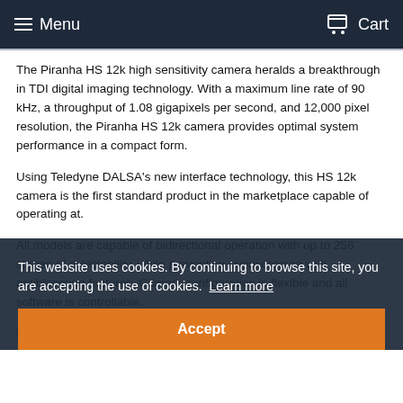Menu | Cart
The Piranha HS 12k high sensitivity camera heralds a breakthrough in TDI digital imaging technology. With a maximum line rate of 90 kHz, a throughput of 1.08 gigapixels per second, and 12,000 pixel resolution, the Piranha HS 12k camera provides optimal system performance in a compact form.
Using Teledyne DALSA's new interface technology, this HS 12k camera is the first standard product in the marketplace capable of operating at.
All models are capable of bidirectional operation with up to 256 stages of selectability, while preventing overexposure with antiblooming features. Camera configuration is flexible and all software is controllable.
If you need maximum performance in low light, you need to
This website uses cookies. By continuing to browse this site, you are accepting the use of cookies. Learn more
Accept